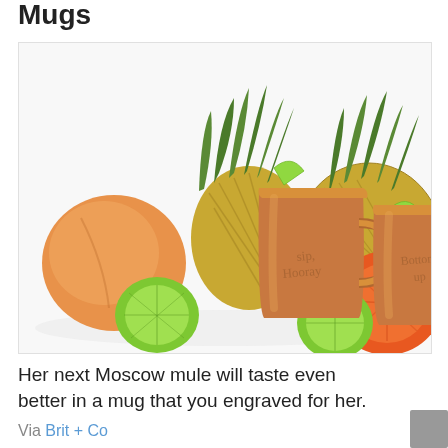Mugs
[Figure (photo): Two engraved copper Moscow mule mugs surrounded by tropical fruits including pineapple, orange, lime slices, and a peach on a white background.]
Her next Moscow mule will taste even better in a mug that you engraved for her.
Via Brit + Co